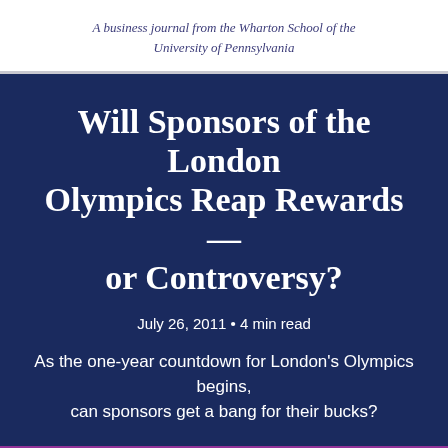A business journal from the Wharton School of the University of Pennsylvania
Will Sponsors of the London Olympics Reap Rewards — or Controversy?
July 26, 2011 • 4 min read
As the one-year countdown for London's Olympics begins, can sponsors get a bang for their bucks?
[Figure (photo): Magenta/purple background image with overlapping geometric shapes and a large white letter K centered at the bottom, suggesting a branded magazine or publication cover image.]